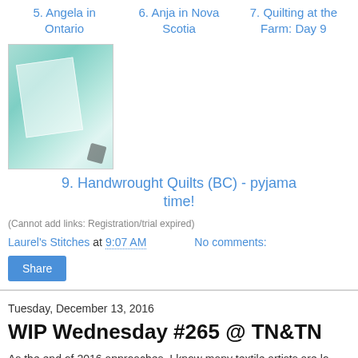5. Angela in Ontario
6. Anja in Nova Scotia
7. Quilting at the Farm: Day 9
[Figure (photo): A photo of teal/mint patterned quilt fabric being cut with scissors]
9. Handwrought Quilts (BC) - pyjama time!
(Cannot add links: Registration/trial expired)
Laurel's Stitches at 9:07 AM    No comments:
Share
Tuesday, December 13, 2016
WIP Wednesday #265 @ TN&TN
As the end of 2016 approaches, I know many textile artists are lo...